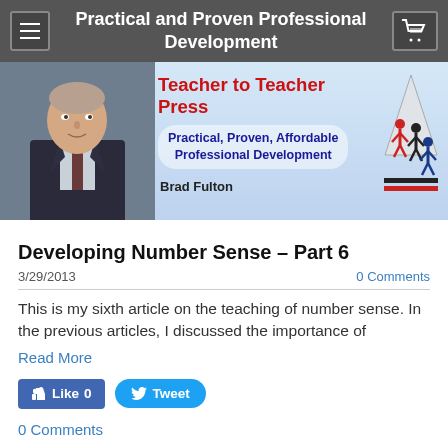Practical and Proven Professional Development
[Figure (photo): Teacher to Teacher Press banner with Brad Fulton photo, logo, tagline: Practical, Proven, Affordable Professional Development]
Developing Number Sense – Part 6
3/29/2013   0 Comments
This is my sixth article on the teaching of number sense. In the previous articles, I discussed the importance of
Read More
Like 0   Tweet
0 Comments